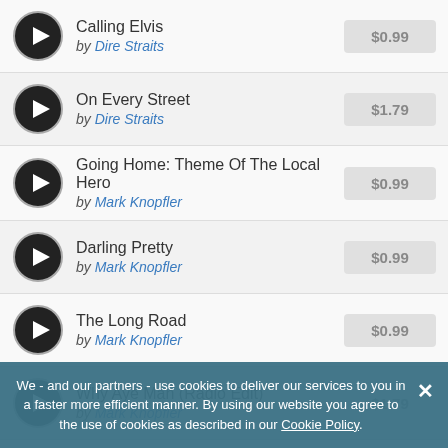Calling Elvis by Dire Straits $0.99
On Every Street by Dire Straits $1.79
Going Home: Theme Of The Local Hero by Mark Knopfler $0.99
Darling Pretty by Mark Knopfler $0.99
The Long Road by Mark Knopfler $0.99
Why Aye Man (Radio Edit) by Mark Knopfler $1.79
We - and our partners - use cookies to deliver our services to you in a faster more efficient manner. By using our website you agree to the use of cookies as described in our Cookie Policy.